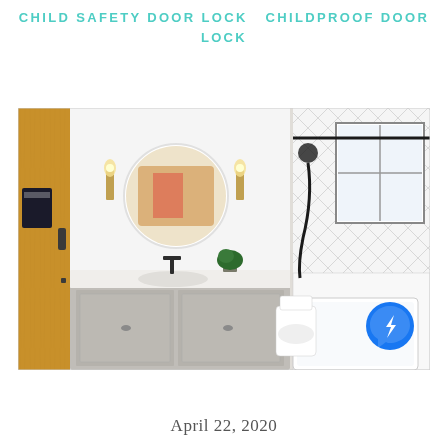CHILD SAFETY DOOR LOCK   CHILDPROOF DOOR LOCK
[Figure (photo): Bathroom interior showing a vanity with round mirror and wall sconces on the left, and a bathtub with herringbone tile wall and shower fixture on the right. A Messenger chat button appears in the lower right corner of the photo.]
April 22, 2020